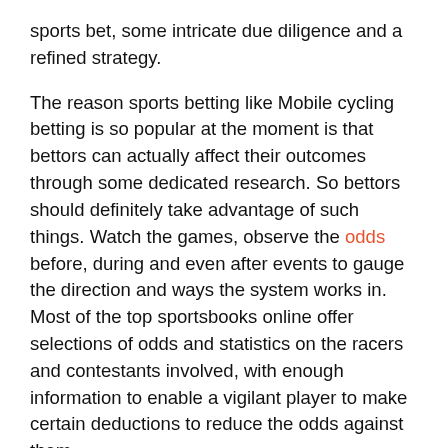sports bet, some intricate due diligence and a refined strategy.
The reason sports betting like Mobile cycling betting is so popular at the moment is that bettors can actually affect their outcomes through some dedicated research. So bettors should definitely take advantage of such things. Watch the games, observe the odds before, during and even after events to gauge the direction and ways the system works in. Most of the top sportsbooks online offer selections of odds and statistics on the racers and contestants involved, with enough information to enable a vigilant player to make certain deductions to reduce the odds against them.
In Mobile cycling betting this research comes in the form of studying the racers in particular. Like horse racing, certain racers perform best understood certain circumstances. In cycling there are multiple different events like time trials, sprints, climbs and more, so